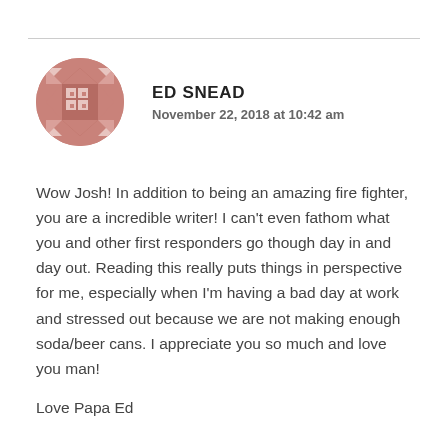[Figure (illustration): Circular avatar with a geometric quilt-like pattern in dusty rose/mauve and white tones]
ED SNEAD
November 22, 2018 at 10:42 am
Wow Josh! In addition to being an amazing fire fighter, you are a incredible writer! I can't even fathom what you and other first responders go though day in and day out. Reading this really puts things in perspective for me, especially when I'm having a bad day at work and stressed out because we are not making enough soda/beer cans. I appreciate you so much and love you man!
Love Papa Ed